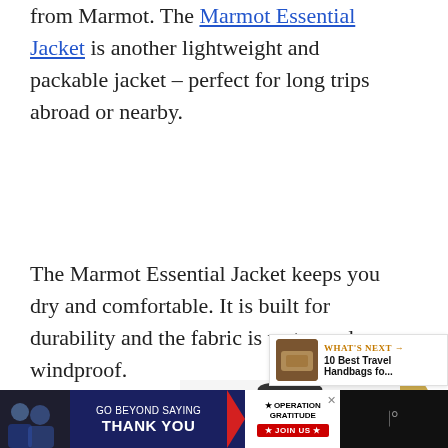from Marmot. The Marmot Essential Jacket is another lightweight and packable jacket – perfect for long trips abroad or nearby.
The Marmot Essential Jacket keeps you dry and comfortable. It is built for durability and the fabric is water and windproof.
[Figure (photo): Black Marmot Essential Jacket with hood, shown on a mannequin/model, product photo]
[Figure (photo): What's Next panel: thumbnail of travel handbags with label '10 Best Travel Handbags fo...']
[Figure (photo): Operation Gratitude advertisement banner: 'GO BEYOND SAYING THANK YOU' with JOIN US button, dark background with people photo on left]